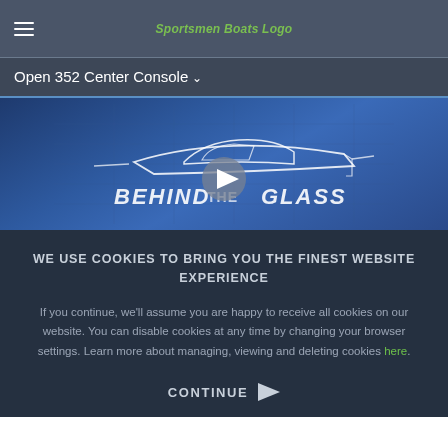Open 352 Center Console
[Figure (screenshot): Behind the Glass video thumbnail with boat illustration and play button on blue background]
WE USE COOKIES TO BRING YOU THE FINEST WEBSITE EXPERIENCE
If you continue, we'll assume you are happy to receive all cookies on our website. You can disable cookies at any time by changing your browser settings. Learn more about managing, viewing and deleting cookies here.
CONTINUE